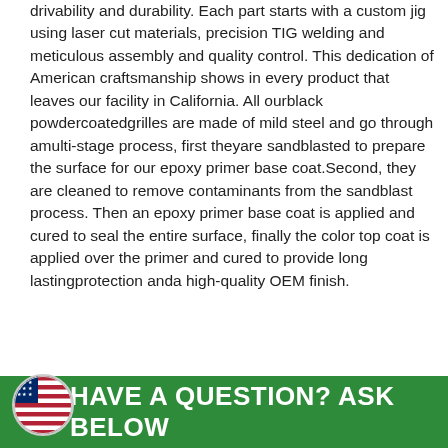drivability and durability. Each part starts with a custom jig using laser cut materials, precision TIG welding and meticulous assembly and quality control. This dedication of American craftsmanship shows in every product that leaves our facility in California. All ourblack powdercoatedgrilles are made of mild steel and go through amulti-stage process, first theyare sandblasted to prepare the surface for our epoxy primer base coat.Second, they are cleaned to remove contaminants from the sandblast process. Then an epoxy primer base coat is applied and cured to seal the entire surface, finally the color top coat is applied over the primer and cured to provide long lastingprotection anda high-quality OEM finish.
HAVE A QUESTION? ASK BELOW